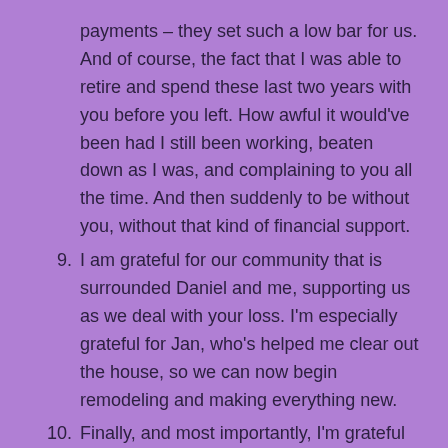payments – they set such a low bar for us. And of course, the fact that I was able to retire and spend these last two years with you before you left. How awful it would've been had I still been working, beaten down as I was, and complaining to you all the time. And then suddenly to be without you, without that kind of financial support.
9. I am grateful for our community that is surrounded Daniel and me, supporting us as we deal with your loss. I'm especially grateful for Jan, who's helped me clear out the house, so we can now begin remodeling and making everything new.
10. Finally, and most importantly, I'm grateful for the sacrifice that Jesus made to allow us to become his children, and the fact that both of us (and Daniel in turn) I've taken up his offer, so this is not the end of